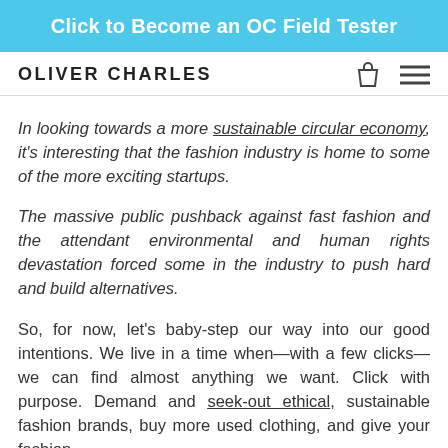Click to Become an OC Field Tester
OLIVER CHARLES
In looking towards a more sustainable circular economy, it's interesting that the fashion industry is home to some of the more exciting startups.
The massive public pushback against fast fashion and the attendant environmental and human rights devastation forced some in the industry to push hard and build alternatives.
So, for now, let's baby-step our way into our good intentions. We live in a time when—with a few clicks—we can find almost anything we want. Click with purpose. Demand and seek-out ethical, sustainable fashion brands, buy more used clothing, and give your fashion